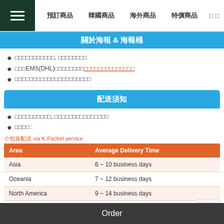≡  預訂商品  韓國商品  海外商品  特價商品
關於海報 & 海報桶
□□□□□□□□□□□, □□□□□□□□
□□□EMS(DHL)□□□□□□□□□□□□□□□□□□□□
□□□□□□□□□□□□□□□□□□□□□
配送須知
□□□□□□□□□□, □□□□□□□□□□□□□□□
□□□□ :
小包裝配送 via K-Packet service
| Area | Average Delivery Time |
| --- | --- |
| Asia | 6 ~ 10 business days |
| Oceania | 7 ~ 12 business days |
| North America | 9 ~ 14 business days |
| Europe | 7 ~ 14 business days |
| Middle East | 9 ~ 15 business days |
| South America | 10 ~ 20 business days |
| Africa | □□1 business days |
Order